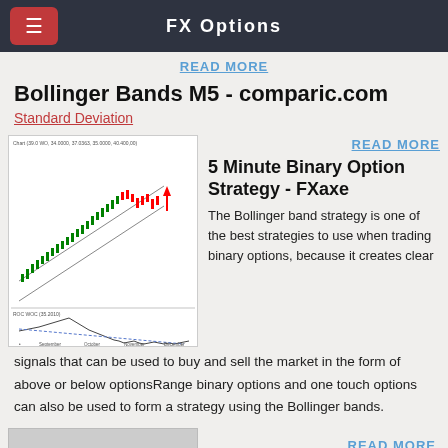FX Options
READ MORE
Bollinger Bands M5 - comparic.com
Standard Deviation
[Figure (continuous-plot): Candlestick chart showing an uptrend with Bollinger Bands on top panel; oscillator/ROC indicator on bottom panel, with downward trend. X-axis shows dates: September, October, November, December, 2004.]
READ MORE
5 Minute Binary Option Strategy - FXaxe
The Bollinger band strategy is one of the best strategies to use when trading binary options, because it creates clear signals that can be used to buy and sell the market in the form of above or below optionsRange binary options and one touch options can also be used to form a strategy using the Bollinger bands.
READ MORE